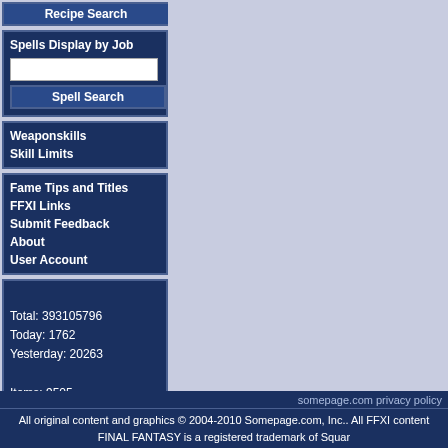Recipe Search
Spells
Display by Job
Weaponskills
Skill Limits
Fame Tips and Titles
FFXI Links
Submit Feedback
About
User Account
Total: 393105796
Today: 1762
Yesterday: 20263

Items: 9505
Mobs: 4024
Recipes: 3285
NPCs: 2066
Quests: 570
somepage.com privacy policy
All original content and graphics © 2004-2010 Somepage.com, Inc.. All FFXI content FINAL FANTASY is a registered trademark of Squar